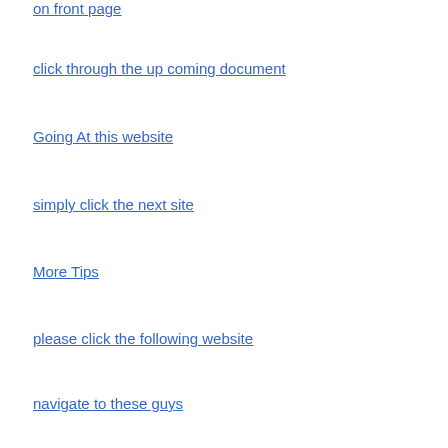on front page
click through the up coming document
Going At this website
simply click the next site
More Tips
please click the following website
navigate to these guys
please click the next webpage